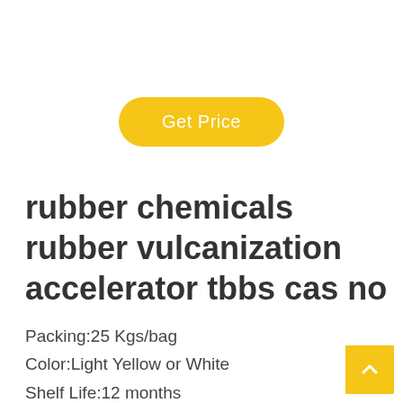[Figure (other): Yellow rounded button labeled 'Get Price']
rubber chemicals rubber vulcanization accelerator tbbs cas no
Packing:25 Kgs/bag
Color:Light Yellow or White
Shelf Life:12 months
Purity:98%
Certification:ISO9001